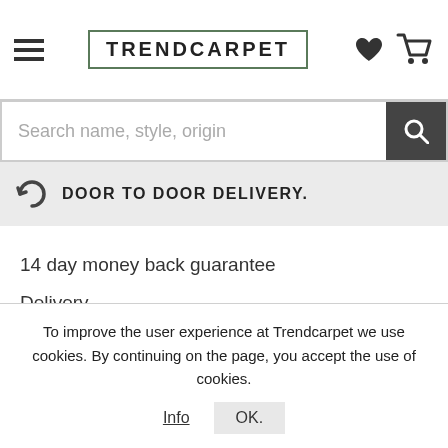TRENDCARPET
Search name, style, origin
DOOR TO DOOR DELIVERY.
14 day money back guarantee
Delivery
Terms and conditions
About us
Contact us
Blog
SHOP SAFELY
To improve the user experience at Trendcarpet we use cookies. By continuing on the page, you accept the use of cookies.
Info   OK.